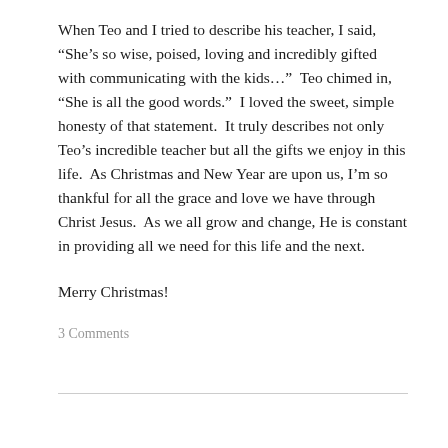When Teo and I tried to describe his teacher, I said, “She’s so wise, poised, loving and incredibly gifted with communicating with the kids…”  Teo chimed in, “She is all the good words.”  I loved the sweet, simple honesty of that statement.  It truly describes not only Teo’s incredible teacher but all the gifts we enjoy in this life.  As Christmas and New Year are upon us, I’m so thankful for all the grace and love we have through Christ Jesus.  As we all grow and change, He is constant in providing all we need for this life and the next.
Merry Christmas!
3 Comments